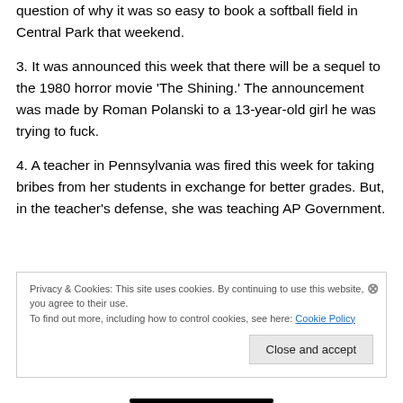question of why it was so easy to book a softball field in Central Park that weekend.
3. It was announced this week that there will be a sequel to the 1980 horror movie ‘The Shining.’ The announcement was made by Roman Polanski to a 13-year-old girl he was trying to fuck.
4. A teacher in Pennsylvania was fired this week for taking bribes from her students in exchange for better grades. But, in the teacher’s defense, she was teaching AP Government.
Privacy & Cookies: This site uses cookies. By continuing to use this website, you agree to their use. To find out more, including how to control cookies, see here: Cookie Policy